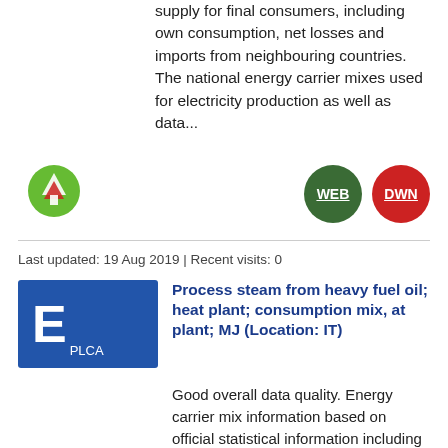supply for final consumers, including own consumption, net losses and imports from neighbouring countries. The national energy carrier mixes used for electricity production as well as data...
[Figure (logo): Green circular icon with white mountain/tree symbol]
WEB
DWN
Last updated: 19 Aug 2019 | Recent visits: 0
[Figure (logo): Blue rectangle with large white E and PLCA label]
Process steam from heavy fuel oil; heat plant; consumption mix, at plant; MJ (Location: IT)
Good overall data quality. Energy carrier mix information based on official statistical information including import / export. A detailed heat plant model was used, which